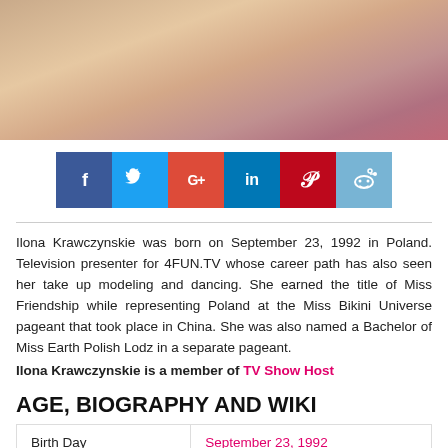[Figure (photo): Close-up photo of a blonde woman with her hand near her face, wearing red clothing]
[Figure (infographic): Row of social media share buttons: Facebook (blue), Twitter (light blue), Google+ (red-orange), LinkedIn (blue), Pinterest (dark red), Reddit (light blue)]
Ilona Krawczynskie was born on September 23, 1992 in Poland. Television presenter for 4FUN.TV whose career path has also seen her take up modeling and dancing. She earned the title of Miss Friendship while representing Poland at the Miss Bikini Universe pageant that took place in China. She was also named a Bachelor of Miss Earth Polish Lodz in a separate pageant.
Ilona Krawczynskie is a member of TV Show Host
AGE, BIOGRAPHY AND WIKI
| Birth Day | Birth Pl... |
| --- | --- |
| Birth Day | September 23, 1992 |
| Birth Pl | Poland |